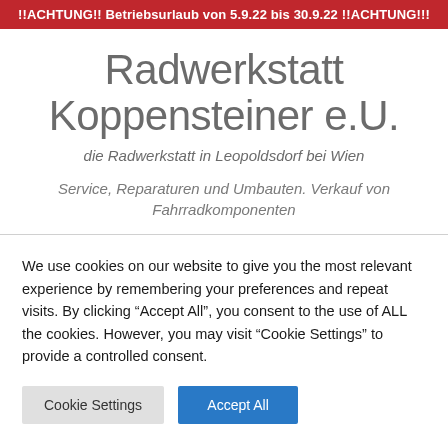!!ACHTUNG!! Betriebsurlaub von 5.9.22 bis 30.9.22 !!ACHTUNG!!!
Radwerkstatt Koppensteiner e.U.
die Radwerkstatt in Leopoldsdorf bei Wien
Service, Reparaturen und Umbauten. Verkauf von Fahrradkomponenten
We use cookies on our website to give you the most relevant experience by remembering your preferences and repeat visits. By clicking “Accept All”, you consent to the use of ALL the cookies. However, you may visit “Cookie Settings” to provide a controlled consent.
Cookie Settings
Accept All